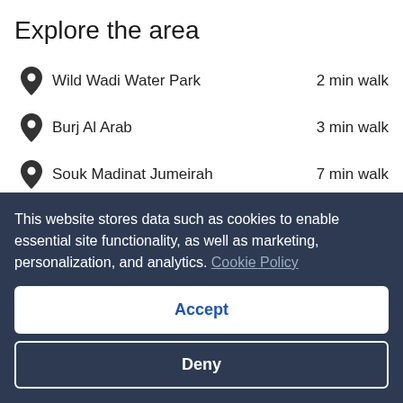Explore the area
Wild Wadi Water Park — 2 min walk
Burj Al Arab — 3 min walk
Souk Madinat Jumeirah — 7 min walk
Dubai (DXB-Dubai Intl.) — 21 min drive
[Figure (logo): VIP Access badge logo with dark navy circle containing 'VIP' text followed by 'Access' wordmark with trademark symbol]
Curated for quality and service, VIP Access stays consistently
This website stores data such as cookies to enable essential site functionality, as well as marketing, personalization, and analytics. Cookie Policy
Accept
Deny